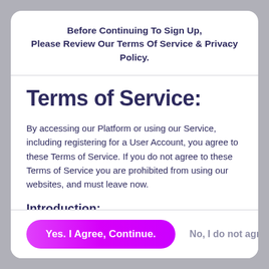Before Continuing To Sign Up, Please Review Our Terms Of Service & Privacy Policy.
Terms of Service:
By accessing our Platform or using our Service, including registering for a User Account, you agree to these Terms of Service. If you do not agree to these Terms of Service you are prohibited from using our websites, and must leave now.
Introduction:
Welcome to the Oper Platform. It is important that...
Yes. I Agree, Continue.
No, I do not agree.